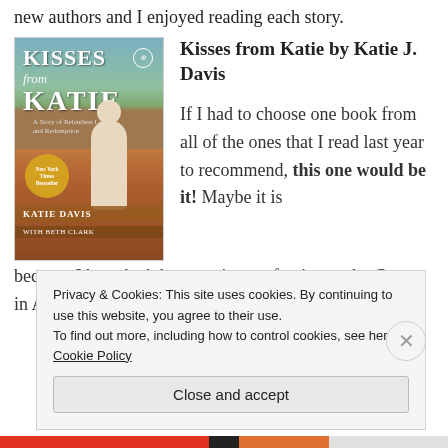new authors and I enjoyed reading each story.
[Figure (photo): Book cover of 'Kisses from Katie' by Katie Davis — shows a young white woman in a white t-shirt surrounded by African children, with red/orange dirt ground and trees in background. Title in large white letters at top.]
Kisses from Katie by Katie J. Davis
If I had to choose one book from all of the ones that I read last year to recommend, this one would be it! Maybe it is because I have had the experience of going to the Congo in Africa in 2008 on a mission trip with a
Privacy & Cookies: This site uses cookies. By continuing to use this website, you agree to their use.
To find out more, including how to control cookies, see here: Cookie Policy
Close and accept